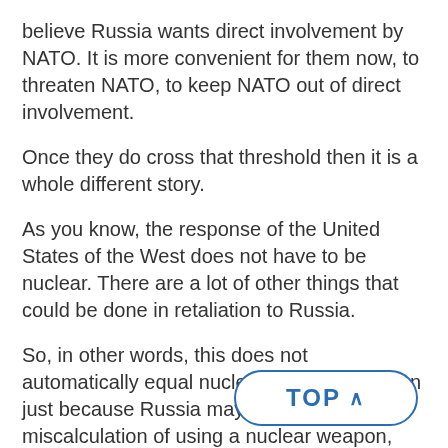believe Russia wants direct involvement by NATO. It is more convenient for them now, to threaten NATO, to keep NATO out of direct involvement.
Once they do cross that threshold then it is a whole different story.
As you know, the response of the United States of the West does not have to be nuclear. There are a lot of other things that could be done in retaliation to Russia.
So, in other words, this does not automatically equal nuclear war or escalation just because Russia may make the terrible miscalculation of using a nuclear weapon, there are many other things that we could do that would be much more damaging to Russia's military capabilities or financial i[...]ous other aspects.